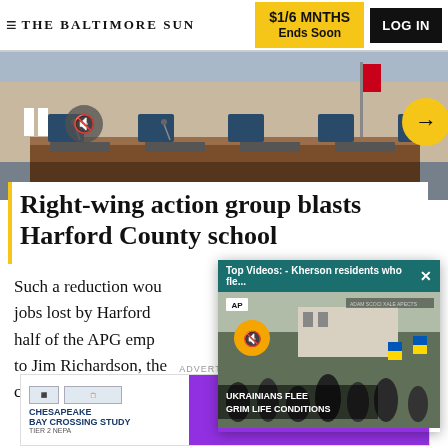THE BALTIMORE SUN | $1/6 MNTHS Ends Soon | LOG IN
[Figure (screenshot): Video player showing a council chamber/hearing room with chairs behind a wooden dais, US and Maryland flags visible. Pause button, mute icon, and yellow arrow navigation button overlaid.]
Right-wing action group blasts Harford County school
[Figure (screenshot): AP video popup overlay titled 'Top Videos: - Kherson residents who fle...' showing crowd of people in winter clothing with Ukrainian flags, text overlay 'UKRAINIANS FLEE GRIM LIFE CONDITIONS'. Orange mute button and AP badge visible.]
Such a reduction wou jobs lost by Harford half of the APG emp to Jim Richardson, the county's economic
ADVERTISEMENT
[Figure (screenshot): Advertisement banner for Chesapeake Bay Crossing Study Tier 2 NEPA. Left side white background with logos, right side purple background reading '2022 Open Houses Sept. 7th, 8th & 13th']